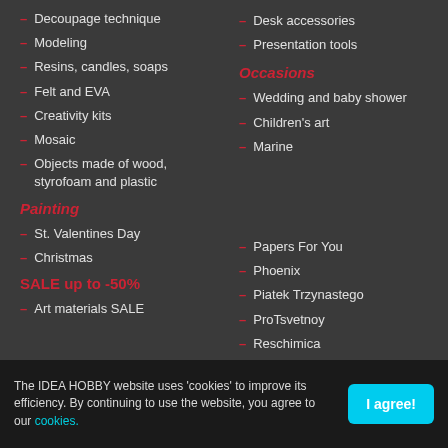Decoupage technique
Modeling
Resins, candles, soaps
Felt and EVA
Creativity kits
Mosaic
Objects made of wood, styrofoam and plastic
Painting
St. Valentines Day
Christmas
SALE up to -50%
Art materials SALE
Desk accessories
Presentation tools
Occasions
Wedding and baby shower
Children's art
Marine
Papers For You
Phoenix
Piatek Trzynastego
ProTsvetnoy
Reschimica
The IDEA HOBBY website uses 'cookies' to improve its efficiency. By continuing to use the website, you agree to our cookies.